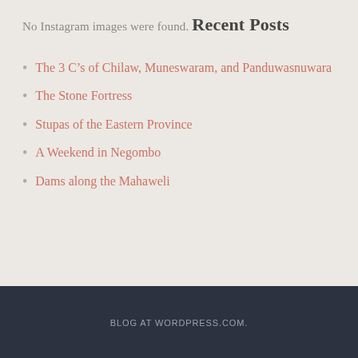No Instagram images were found.
Recent Posts
The 3 C’s of Chilaw, Muneswaram, and Panduwasnuwara
The Stone Fortress
Stupas of the Eastern Province
A Weekend in Negombo
Dams along the Mahaweli
BLOG AT WORDPRESS.COM.